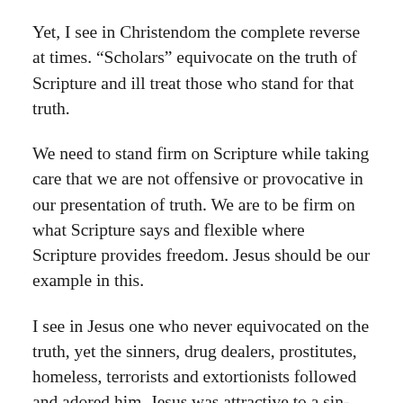Yet, I see in Christendom the complete reverse at times. “Scholars” equivocate on the truth of Scripture and ill treat those who stand for that truth.
We need to stand firm on Scripture while taking care that we are not offensive or provocative in our presentation of truth. We are to be firm on what Scripture says and flexible where Scripture provides freedom. Jesus should be our example in this.
I see in Jesus one who never equivocated on the truth, yet the sinners, drug dealers, prostitutes, homeless, terrorists and extortionists followed and adored him. Jesus was attractive to a sin-sick world. The church needs to take a look in the